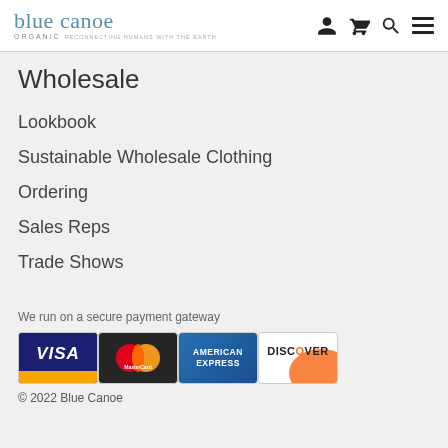blue canoe organic
Wholesale
Lookbook
Sustainable Wholesale Clothing
Ordering
Sales Reps
Trade Shows
We run on a secure payment gateway
[Figure (logo): Payment card logos: Visa, MasterCard, American Express, Discover]
© 2022 Blue Canoe